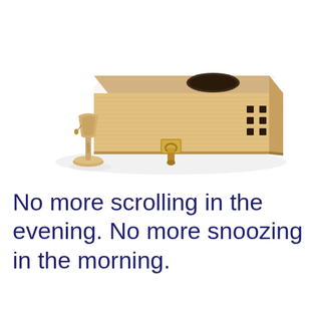[Figure (photo): 3D rendered image of a wooden box with a circular hole on the top, a brass latch/lock on the front, and small square cutouts on the side. Next to the box is a small wooden goblet/hourglass figure on a round base. The scene is on a white background with a subtle shadow reflection.]
No more scrolling in the evening. No more snoozing in the morning.